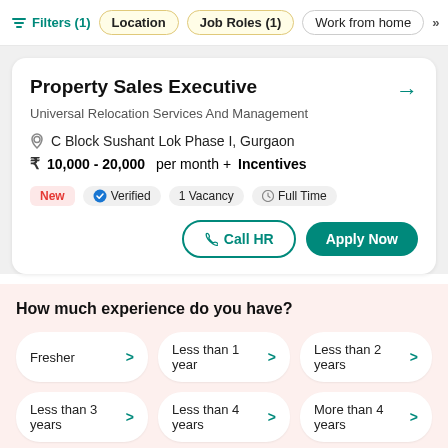Filters (1)  Location  Job Roles (1)  Work from home
Property Sales Executive
Universal Relocation Services And Management
C Block Sushant Lok Phase I, Gurgaon
10,000 - 20,000 per month + Incentives
New  Verified  1 Vacancy  Full Time
Call HR  Apply Now
How much experience do you have?
Fresher
Less than 1 year
Less than 2 years
Less than 3 years
Less than 4 years
More than 4 years